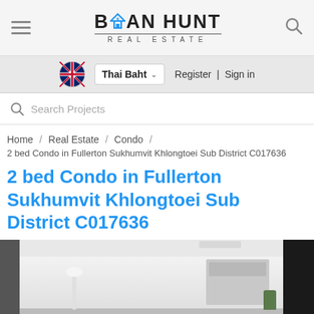BAAN HUNT REAL ESTATE
Thai Baht | Register | Sign in
Search Projects
Home / Real Estate / Condo /
2 bed Condo in Fullerton Sukhumvit Khlongtoei Sub District C017636
2 bed Condo in Fullerton Sukhumvit Khlongtoei Sub District C017636
[Figure (photo): Interior photo of a condo unit showing a bright living area with white walls, ceiling, and modern furnishings.]